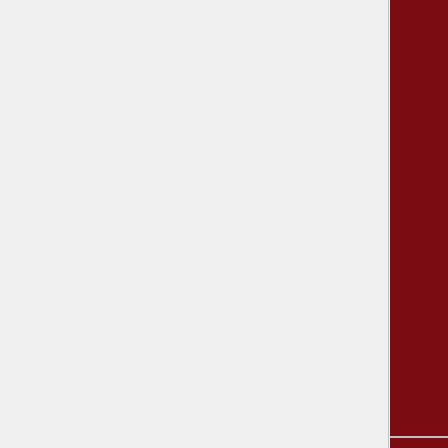|  | Kitchen Utensil | Items |
| --- | --- | --- |
|  | Kitchen Utensil | Empty Bottle (Remoulade) • Empty Bottle (Water) • Empty Bottle (White Wine) • Empty Jar • Empty Mug • Empty Orange Soda Bottle • Fork • Frying Pan • Hunting Knife • Empty Jar • Kettle • Kitchen Knife • Mortar and Pestle • Roasting Pan • Rolling Pin • Spoon |